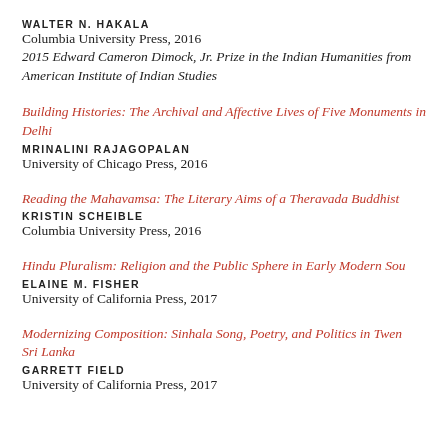WALTER N. HAKALA
Columbia University Press, 2016
2015 Edward Cameron Dimock, Jr. Prize in the Indian Humanities from the American Institute of Indian Studies
Building Histories: The Archival and Affective Lives of Five Monuments in Delhi
MRINALINI RAJAGOPALAN
University of Chicago Press, 2016
Reading the Mahavamsa: The Literary Aims of a Theravada Buddhist History
KRISTIN SCHEIBLE
Columbia University Press, 2016
Hindu Pluralism: Religion and the Public Sphere in Early Modern South Asia
ELAINE M. FISHER
University of California Press, 2017
Modernizing Composition: Sinhala Song, Poetry, and Politics in Twentieth-Century Sri Lanka
GARRETT FIELD
University of California Press, 2017